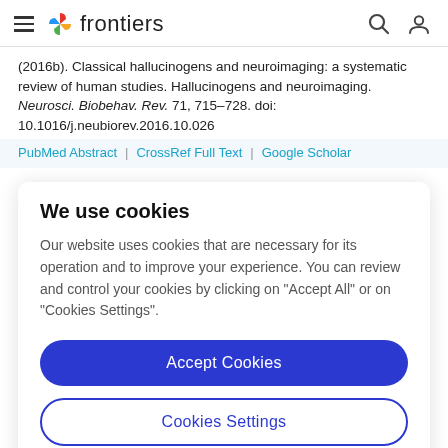frontiers
(2016b). Classical hallucinogens and neuroimaging: a systematic review of human studies. Hallucinogens and neuroimaging. Neurosci. Biobehav. Rev. 71, 715–728. doi: 10.1016/j.neubiorev.2016.10.026
PubMed Abstract | CrossRef Full Text | Google Scholar
We use cookies
Our website uses cookies that are necessary for its operation and to improve your experience. You can review and control your cookies by clicking on "Accept All" or on "Cookies Settings".
Accept Cookies
Cookies Settings